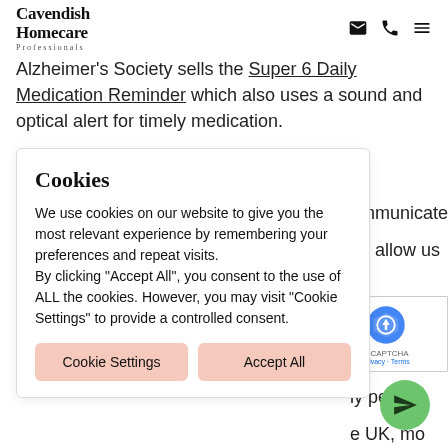Cavendish Homecare Professionals
Alzheimer's Society sells the Super 6 Daily Medication Reminder which also uses a sound and optical alert for timely medication.
Cookies
We use cookies on our website to give you the most relevant experience by remembering your preferences and repeat visits.
By clicking "Accept All", you consent to the use of ALL the cookies. However, you may visit "Cookie Settings" to provide a controlled consent.
communicate
an allow us to
s and are
important for
ly people
e UK, mo...
75 live al...
ey go fo...
our or fami...